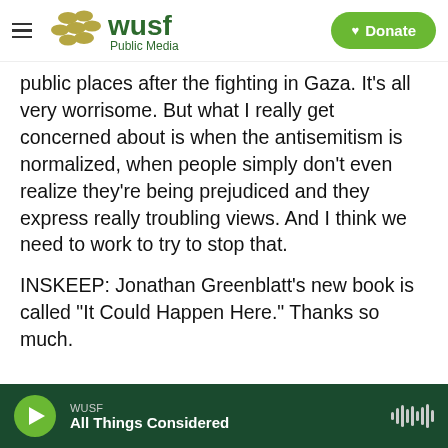[Figure (logo): WUSF Public Media logo with hamburger menu icon and green Donate button]
public places after the fighting in Gaza. It's all very worrisome. But what I really get concerned about is when the antisemitism is normalized, when people simply don't even realize they're being prejudiced and they express really troubling views. And I think we need to work to try to stop that.
INSKEEP: Jonathan Greenblatt's new book is called "It Could Happen Here." Thanks so much.
GREENBLATT: Thank you, Steve. I appreciate the time.
(SOUNDBITE OF KRONOS QUARTET'S "LITTLE
WUSF  All Things Considered